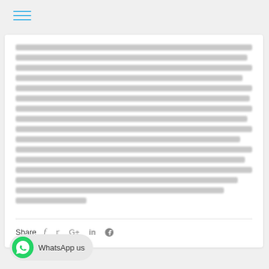[Figure (other): Hamburger menu icon with three horizontal blue lines]
[Figure (other): Blurred text content block inside a white card — body text rendered as blurred gray lines, unreadable]
Share
[Figure (other): Social share icons: Facebook (f), Twitter, Google+, LinkedIn (in), Pinterest]
[Figure (other): WhatsApp us button with green WhatsApp logo icon and text 'WhatsApp us']